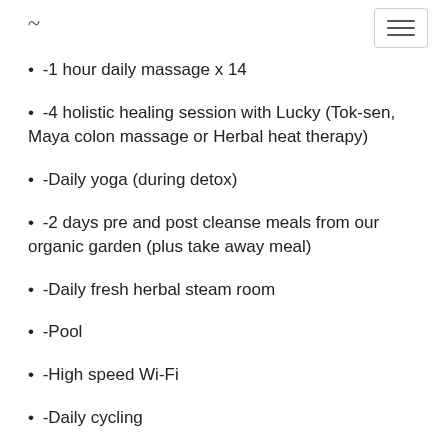~ [hamburger menu icon]
-1 hour daily massage x 14
-4 holistic healing session with Lucky (Tok-sen, Maya colon massage or Herbal heat therapy)
-Daily yoga (during detox)
-2 days pre and post cleanse meals from our organic garden (plus take away meal)
-Daily fresh herbal steam room
-Pool
-High speed Wi-Fi
-Daily cycling